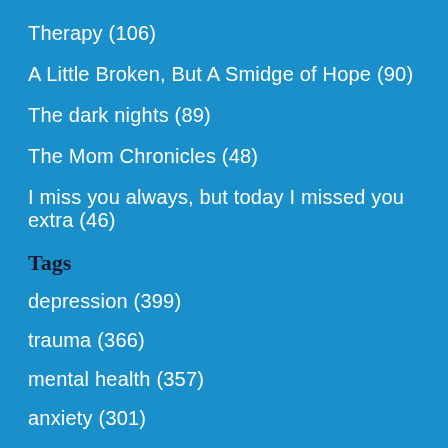Therapy (106)
A Little Broken, But A Smidge of Hope (90)
The dark nights (89)
The Mom Chronicles (48)
I miss you always, but today I missed you extra (46)
Tags
depression (399)
trauma (366)
mental health (357)
anxiety (301)